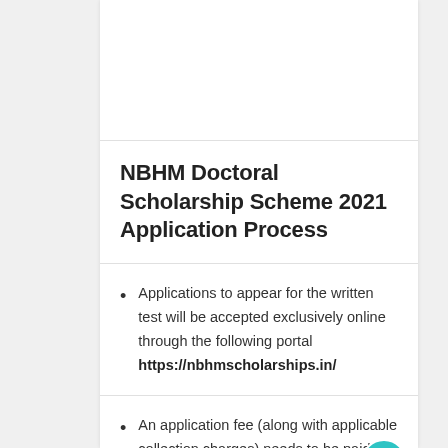NBHM Doctoral Scholarship Scheme 2021 Application Process
Applications to appear for the written test will be accepted exclusively online through the following portal https://nbhmscholarships.in/
An application fee (along with applicable collection charges) needs to be paid online at the time of the application